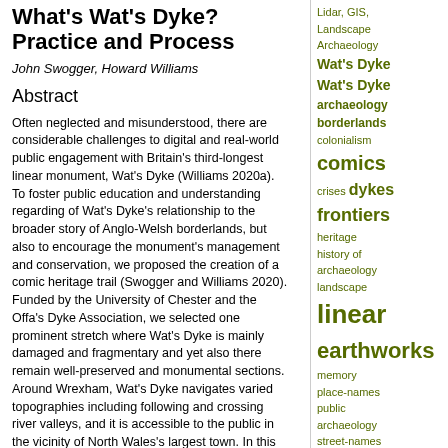What's Wat's Dyke? Practice and Process
John Swogger, Howard Williams
Abstract
Often neglected and misunderstood, there are considerable challenges to digital and real-world public engagement with Britain's third-longest linear monument, Wat's Dyke (Williams 2020a). To foster public education and understanding regarding of Wat's Dyke's relationship to the broader story of Anglo-Welsh borderlands, but also to encourage the monument's management and conservation, we proposed the creation of a comic heritage trail (Swogger and Williams 2020). Funded by the University of Chester and the Offa's Dyke Association, we selected one prominent stretch where Wat's Dyke is mainly damaged and fragmentary and yet also there remain well-preserved and monumental sections. Around Wrexham, Wat's Dyke navigates varied topographies including following and crossing river valleys, and it is accessible to the public in the vicinity of North Wales's largest town. In this article we outline the
Lidar, GIS, Landscape Archaeology
Wat's Dyke
Wat's Dyke archaeology
borderlands
colonialism
comics
crises dykes
frontiers
heritage
history of archaeology
landscape
linear earthworks
memory
place-names
public archaeology
street-names